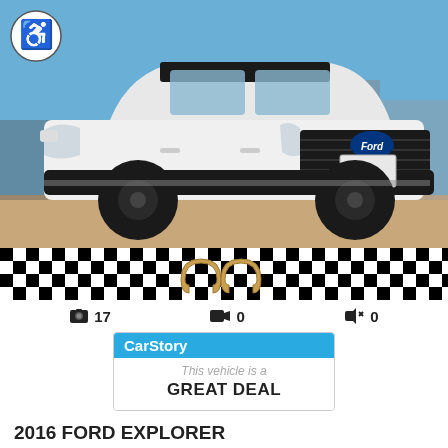[Figure (photo): White 2016 Ford Explorer SUV with black wheels photographed at a car dealership lot. A wheelchair accessibility icon appears in the upper left corner of the image.]
[Figure (logo): Checkered black and white banner with a gold/tan double horseshoe logo (WC or UC style) in the center.]
📷 17   🎥 0   👎 0
CarStory
This vehicle is a
GREAT DEAL
2016 FORD EXPLORER
Asking Price
$12,995